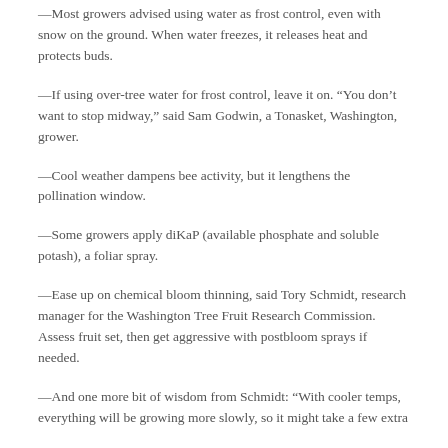—Most growers advised using water as frost control, even with snow on the ground. When water freezes, it releases heat and protects buds.
—If using over-tree water for frost control, leave it on. “You don’t want to stop midway,” said Sam Godwin, a Tonasket, Washington, grower.
—Cool weather dampens bee activity, but it lengthens the pollination window.
—Some growers apply diKaP (available phosphate and soluble potash), a foliar spray.
—Ease up on chemical bloom thinning, said Tory Schmidt, research manager for the Washington Tree Fruit Research Commission. Assess fruit set, then get aggressive with postbloom sprays if needed.
—And one more bit of wisdom from Schmidt: “With cooler temps, everything will be growing more slowly, so it might take a few extra